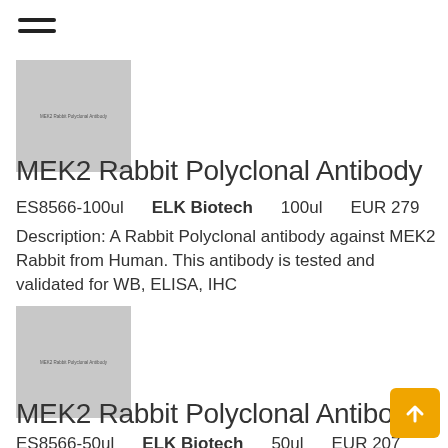[Figure (logo): Hamburger menu icon (three horizontal lines)]
[Figure (photo): MEK2 Rabbit Polyclonal Antibody product placeholder image, gray square with label text]
MEK2 Rabbit Polyclonal Antibody
ES8566-100ul    ELK Biotech    100ul    EUR 279
Description: A Rabbit Polyclonal antibody against MEK2 Rabbit from Human. This antibody is tested and validated for WB, ELISA, IHC
[Figure (photo): MEK2 Rabbit Polyclonal Antibody product placeholder image, gray square with label text]
MEK2 Rabbit Polyclonal Antibody
ES8566-50ul    ELK Biotech    50ul    EUR 207